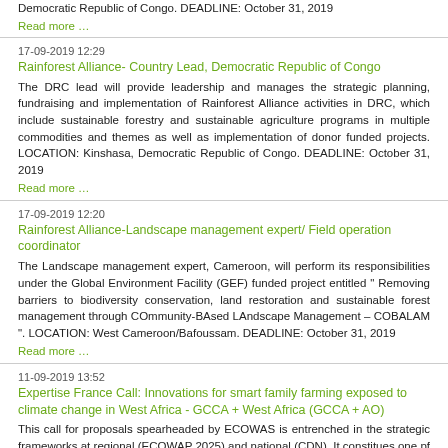Democratic Republic of Congo. DEADLINE: October 31, 2019
Read more …
17-09-2019 12:29
Rainforest Alliance- Country Lead, Democratic Republic of Congo
The DRC lead will provide leadership and manages the strategic planning, fundraising and implementation of Rainforest Alliance activities in DRC, which include sustainable forestry and sustainable agriculture programs in multiple commodities and themes as well as implementation of donor funded projects. LOCATION: Kinshasa, Democratic Republic of Congo. DEADLINE: October 31, 2019
Read more …
17-09-2019 12:20
Rainforest Alliance-Landscape management expert/ Field operation coordinator
The Landscape management expert, Cameroon, will perform its responsibilities under the Global Environment Facility (GEF) funded project entitled " Removing barriers to biodiversity conservation, land restoration and sustainable forest management through COmmunity-BAsed LAndscape Management – COBALAM ". LOCATION: West Cameroon/Bafoussam. DEADLINE: October 31, 2019
Read more …
11-09-2019 13:52
Expertise France Call: Innovations for smart family farming exposed to climate change in West Africa - GCCA + West Africa (GCCA + AO)
This call for proposals spearheaded by ECOWAS is entrenched in the strategic frameworks at regional (ECOWAP 2025) and national (CDN). It constitues one pf the main activities of Outcome 3 (EO3) of the GCCA + West Africa program ; EO3. Pilot adaptation projects, including solutions based on